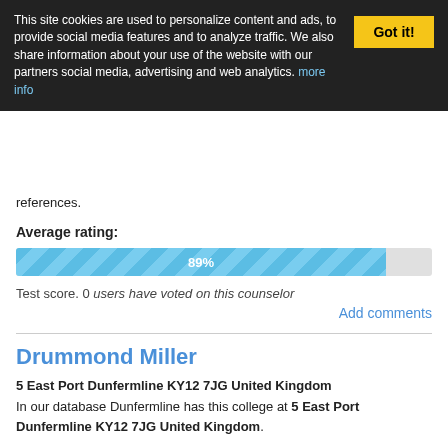This site cookies are used to personalize content and ads, to provide social media features and to analyze traffic. We also share information about your use of the website with our partners social media, advertising and web analytics. more info
Got it!
references.
Average rating:
[Figure (other): Progress bar showing 89% average rating]
Test score. 0 users have voted on this counselor
Add comments
Drummond Miller
5 East Port Dunfermline KY12 7JG United Kingdom
In our database Dunfermline has this college at 5 East Port Dunfermline KY12 7JG United Kingdom.
Average rating:
[Figure (other): Progress bar showing 38% average rating]